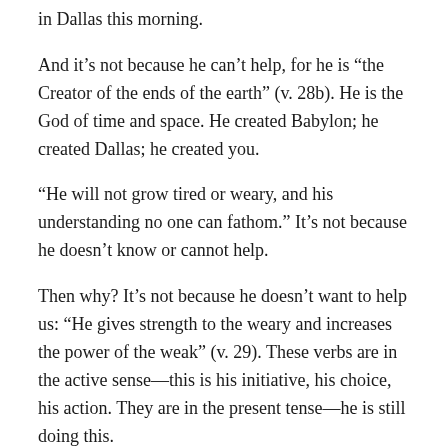in Dallas this morning.
And it’s not because he can’t help, for he is “the Creator of the ends of the earth” (v. 28b). He is the God of time and space. He created Babylon; he created Dallas; he created you.
“He will not grow tired or weary, and his understanding no one can fathom.” It’s not because he doesn’t know or cannot help.
Then why? It’s not because he doesn’t want to help us: “He gives strength to the weary and increases the power of the weak” (v. 29). These verbs are in the active sense—this is his initiative, his choice, his action. They are in the present tense—he is still doing this.